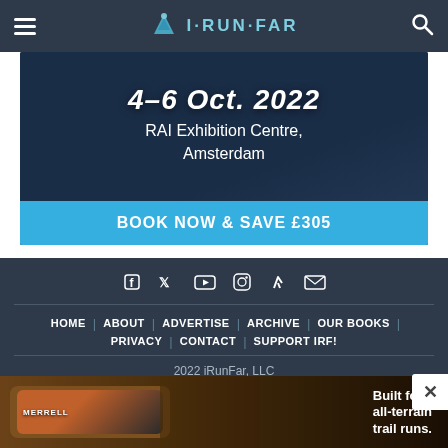i·RUN·FAR
[Figure (screenshot): Advertisement banner: '4-6 Oct. 2022 RAI Exhibition Centre, Amsterdam' with blue CTA bar 'BOOK NOW & SAVE £305']
HOME | ABOUT | ADVERTISE | ARCHIVE | OUR BOOKS | PRIVACY | CONTACT | SUPPORT IRF! — 2022 iRunFar, LLC
[Figure (screenshot): Merrell shoe advertisement: 'Built for all-terrain trail runs.' showing a trail running shoe and runner's feet on terrain]